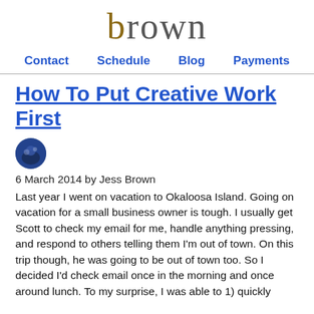brown
Contact   Schedule   Blog   Payments
How To Put Creative Work First
6 March 2014 by Jess Brown
Last year I went on vacation to Okaloosa Island. Going on vacation for a small business owner is tough. I usually get Scott to check my email for me, handle anything pressing, and respond to others telling them I'm out of town. On this trip though, he was going to be out of town too. So I decided I'd check email once in the morning and once around lunch. To my surprise, I was able to 1) quickly